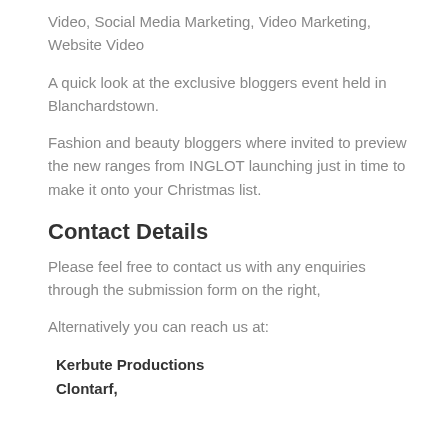Video, Social Media Marketing, Video Marketing, Website Video
A quick look at the exclusive bloggers event held in Blanchardstown.
Fashion and beauty bloggers where invited to preview the new ranges from INGLOT launching just in time to make it onto your Christmas list.
Contact Details
Please feel free to contact us with any enquiries through the submission form on the right,
Alternatively you can reach us at:
Kerbute Productions
Clontarf,